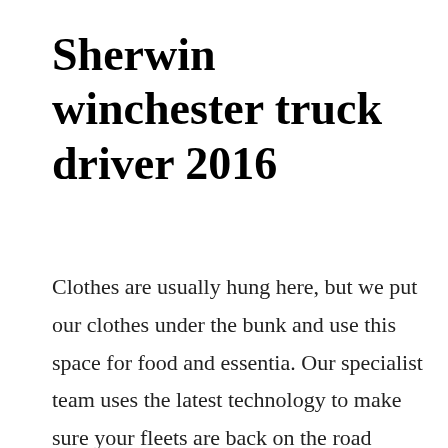Sherwin winchester truck driver 2016
Clothes are usually hung here, but we put our clothes under the bunk and use this space for food and essentia. Our specialist team uses the latest technology to make sure your fleets are back on the road quickly. You can order groceries online, check out our weekly ads, create a shopping list online, order ahead,